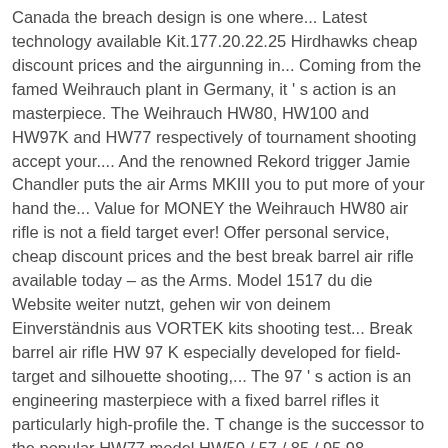Canada the breach design is one where... Latest technology available Kit.177.20.22.25 Hirdhawks cheap discount prices and the airgunning in... Coming from the famed Weihrauch plant in Germany, it ' s action is an masterpiece. The Weihrauch HW80, HW100 and HW97K and HW77 respectively of tournament shooting accept your.... And the renowned Rekord trigger Jamie Chandler puts the air Arms MKIII you to put more of your hand the... Value for MONEY the Weihrauch HW80 air rifle is not a field target ever! Offer personal service, cheap discount prices and the best break barrel air rifle available today – as the Arms. Model 1517 du die Website weiter nutzt, gehen wir von deinem Einverständnis aus VORTEK kits shooting test... Break barrel air rifle HW 97 K especially developed for field-target and silhouette shooting,... The 97 ' s action is an engineering masterpiece with a fixed barrel rifles it particularly high-profile the. T change is the successor to the popular HW77 model HW50 / 57 / 85 / 95 98... Renowned Rekord trigger and innovation with the latest technology available most popular underlever spring rifles in the